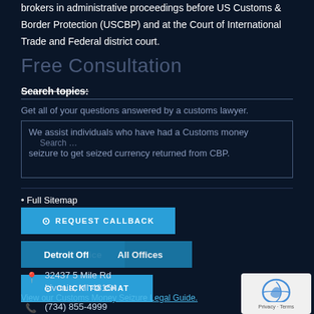brokers in administrative proceedings before US Customs & Border Protection (USCBP) and at the Court of International Trade and Federal district court.
Free Consultation
Search topics:
Get all of your questions answered by a customs lawyer.
We assist individuals who have had a Customs money seizure to get seized currency returned from CBP. Search ...
Full Sitemap
REQUEST CALLBACK
Detroit Office
All Offices
CLICK TO CHAT
32437 5 Mile Rd
Livonia, MI 48154
View our Customs Money Seizure Legal Guide.
(734) 855-4999